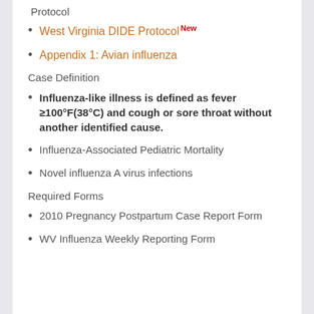Protocol
West Virginia DIDE Protocol New
Appendix 1: Avian influenza
Case Definition
Influenza-like illness is defined as fever ≥100°F(38°C) and cough or sore throat without another identified cause.
Influenza-Associated Pediatric Mortality
Novel influenza A virus infections
Required Forms
2010 Pregnancy Postpartum Case Report Form
WV Influenza Weekly Reporting Form